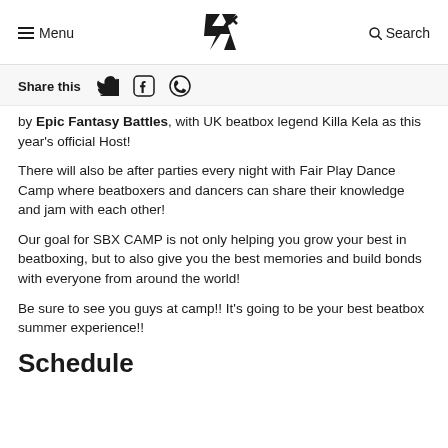≡ Menu  [logo]  🔍 Search
Share this [Twitter] [Facebook] [WhatsApp]
by Epic Fantasy Battles, with UK beatbox legend Killa Kela as this year's official Host!
There will also be after parties every night with Fair Play Dance Camp where beatboxers and dancers can share their knowledge and jam with each other!
Our goal for SBX CAMP is not only helping you grow your best in beatboxing, but to also give you the best memories and build bonds with everyone from around the world!
Be sure to see you guys at camp!! It's going to be your best beatbox summer experience!!
Schedule